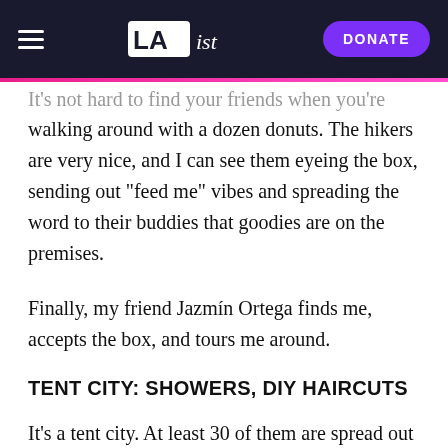LAist | DONATE
It's not hard to find your friends when you're walking around with a dozen donuts. The hikers are very nice, and I can see them eyeing the box, sending out "feed me" vibes and spreading the word to their buddies that goodies are on the premises.
Finally, my friend Jazmín Ortega finds me, accepts the box, and tours me around.
TENT CITY: SHOWERS, DIY HAIRCUTS
It's a tent city. At least 30 of them are spread out in the dirt between the Saufley house up top, and a